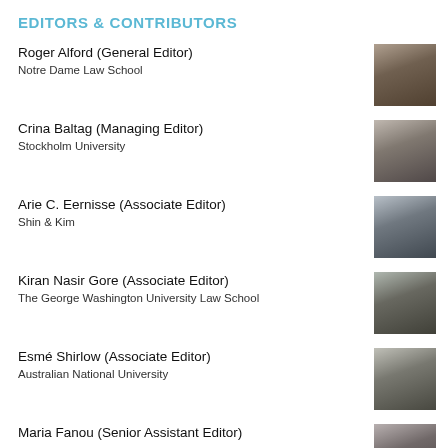EDITORS & CONTRIBUTORS
Roger Alford (General Editor)
Notre Dame Law School
[Figure (photo): Headshot of Roger Alford, black and white]
Crina Baltag (Managing Editor)
Stockholm University
[Figure (photo): Headshot of Crina Baltag, black and white]
Arie C. Eernisse (Associate Editor)
Shin & Kim
[Figure (photo): Headshot of Arie C. Eernisse, black and white]
Kiran Nasir Gore (Associate Editor)
The George Washington University Law School
[Figure (photo): Headshot of Kiran Nasir Gore, black and white]
Esmé Shirlow (Associate Editor)
Australian National University
[Figure (photo): Headshot of Esmé Shirlow, black and white]
Maria Fanou (Senior Assistant Editor)
[Figure (photo): Headshot of Maria Fanou, black and white]
Dina Prokic (Senior Assistant Editor)
[Figure (photo): Headshot of Dina Prokic, black and white (partially visible)]